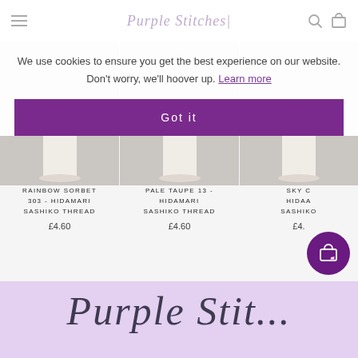Purple Stitches
We use cookies to ensure you get the best experience on our website. Don't worry, we'll hoover up. Learn more
Got it
RAINBOW SORBET 303 - HIDAMARI SASHIKO THREAD
£4.60
PALE TAUPE 13 - HIDAMARI SASHIKO THREAD
£4.60
SKY ... HIDAMARI SASHIKO THREAD
£4.
Purple Stitches